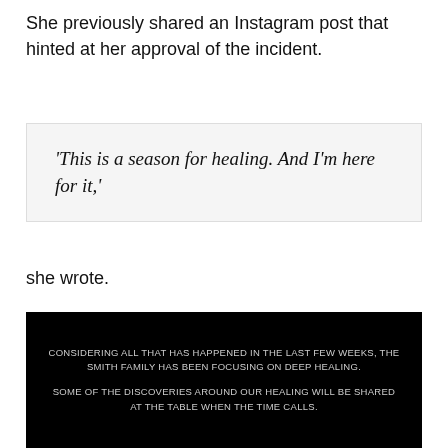She previously shared an Instagram post that hinted at her approval of the incident.
'This is a season for healing. And I'm here for it,'
she wrote.
[Figure (screenshot): Black background image with white uppercase text reading: 'CONSIDERING ALL THAT HAS HAPPENED IN THE LAST FEW WEEKS, THE SMITH FAMILY HAS BEEN FOCUSING ON DEEP HEALING. SOME OF THE DISCOVERIES AROUND OUR HEALING WILL BE SHARED AT THE TABLE WHEN THE TIME CALLS.']